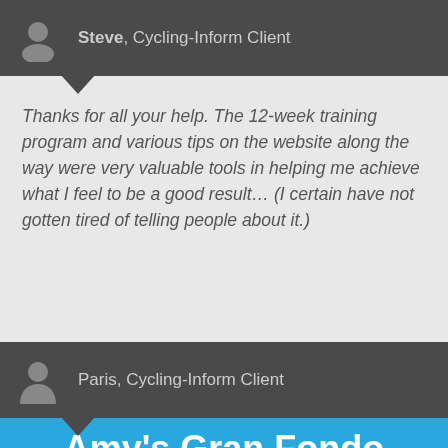Steve, Cycling-Inform Client
Thanks for all your help. The 12-week training program and various tips on the website along the way were very valuable tools in helping me achieve what I feel to be a good result… (I certain have not gotten tired of telling people about it.)
Paris, Cycling-Inform Client
Amy's Gran Fondo Event Training Program Ride